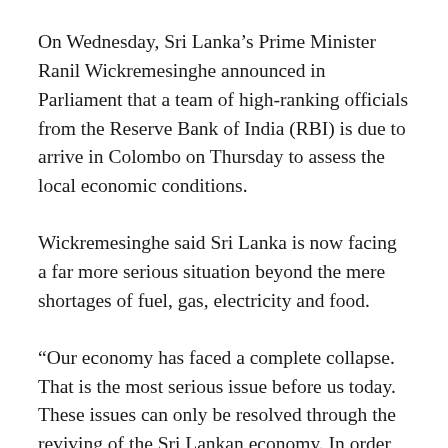On Wednesday, Sri Lanka’s Prime Minister Ranil Wickremesinghe announced in Parliament that a team of high-ranking officials from the Reserve Bank of India (RBI) is due to arrive in Colombo on Thursday to assess the local economic conditions.
Wickremesinghe said Sri Lanka is now facing a far more serious situation beyond the mere shortages of fuel, gas, electricity and food.
“Our economy has faced a complete collapse. That is the most serious issue before us today. These issues can only be resolved through the reviving of the Sri Lankan economy. In order to do this, we must first resolve the foreign reserves crisis faced by us,” he said.
He said it is no easy task to revive a country with “a